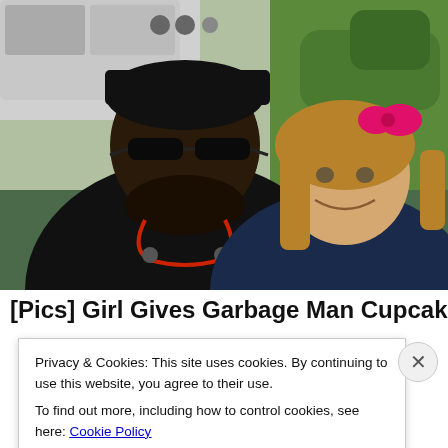[Figure (photo): A smiling man wearing a black cap and sunglasses, with a beard and red/black earphones around his neck, posing with a young girl who has a pink bow in her hair. Background shows a white truck and green grass/trees. Outdoor daytime photo.]
[Pics] Girl Gives Garbage Man Cupcake Every
Privacy & Cookies: This site uses cookies. By continuing to use this website, you agree to their use.
To find out more, including how to control cookies, see here: Cookie Policy
Close and accept